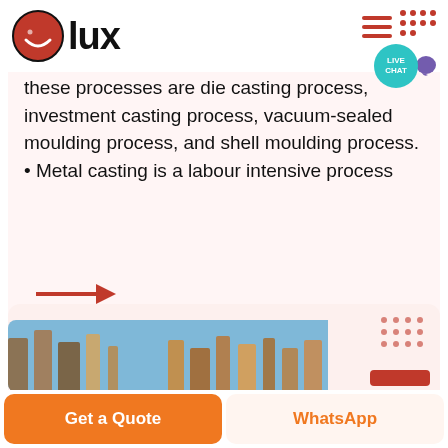[Figure (logo): Olux logo — red circle with white smiley and black 'lux' text]
these processes are die casting process, investment casting process, vacuum-sealed moulding process, and shell moulding process. • Metal casting is a labour intensive process
[Figure (illustration): Red arrow pointing right]
[Figure (photo): Industrial metal casting pipes/components photo]
Get a Quote
WhatsApp